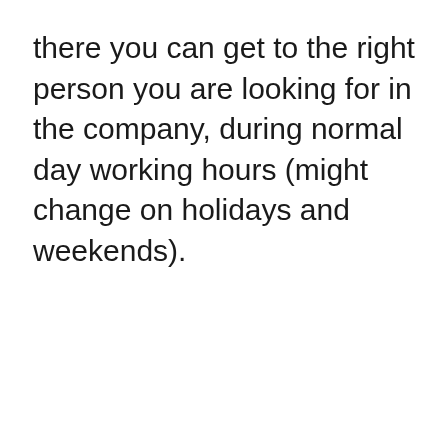there you can get to the right person you are looking for in the company, during normal day working hours (might change on holidays and weekends).